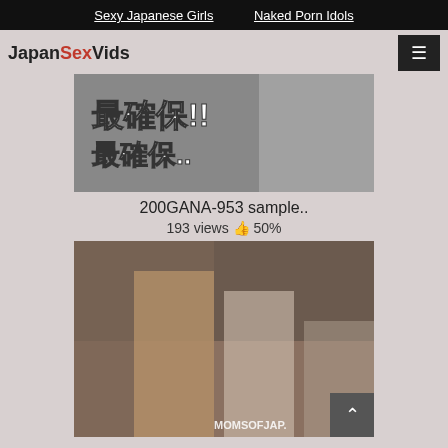Sexy Japanese Girls   Naked Porn Idols
JapanSexVids
[Figure (screenshot): Video thumbnail showing Japanese text overlay on a room scene]
200GANA-953 sample..
193 views 👍 50%
[Figure (screenshot): Video thumbnail showing two women in a kitchen scene, watermark MOMSOFJAP.]